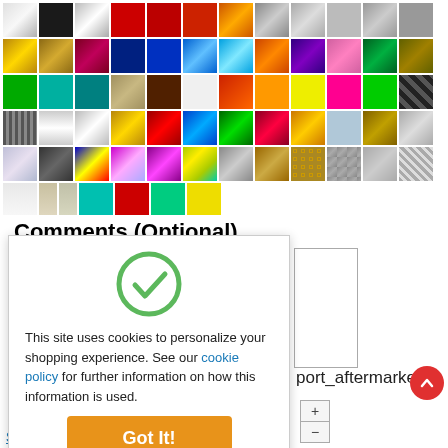[Figure (other): Grid of color swatches showing various vinyl wrap colors and finishes including solid colors, metallic, chrome, matte, gloss, brushed, patterned, carbon fiber, holographic, and specialty finishes.]
Comments (Optional)
[Figure (other): Cookie consent popup overlay with a green checkmark icon, text reading 'This site uses cookies to personalize your shopping experience. See our cookie policy for further information on how this information is used.' and an orange 'Got It!' button.]
port_aftermarket
[Figure (other): Partial view of a quantity selector with plus and minus buttons.]
[Figure (other): Red circular scroll-to-top button with an upward chevron arrow.]
Submit Shipping